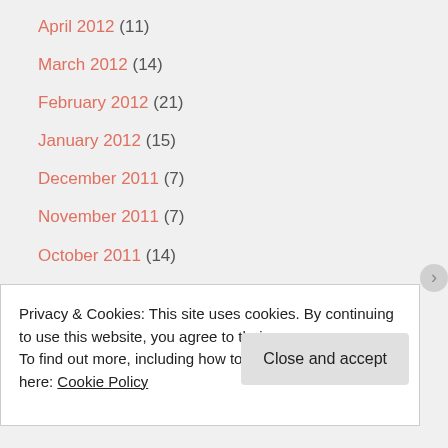April 2012 (11)
March 2012 (14)
February 2012 (21)
January 2012 (15)
December 2011 (7)
November 2011 (7)
October 2011 (14)
September 2011 (14)
August 2011 (14)
July 2011 (13)
June 2011 (11)
Privacy & Cookies: This site uses cookies. By continuing to use this website, you agree to their use.
To find out more, including how to control cookies, see here: Cookie Policy